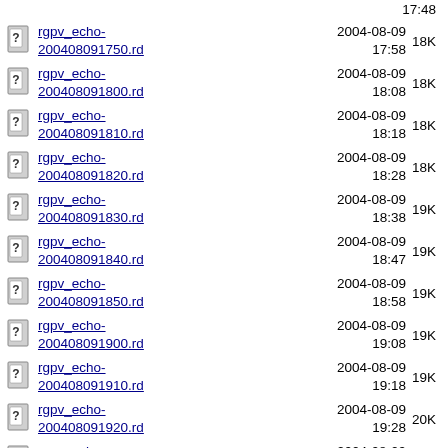rgpv_echo-200408091750.rd  2004-08-09 17:58  18K
rgpv_echo-200408091800.rd  2004-08-09 18:08  18K
rgpv_echo-200408091810.rd  2004-08-09 18:18  18K
rgpv_echo-200408091820.rd  2004-08-09 18:28  18K
rgpv_echo-200408091830.rd  2004-08-09 18:38  19K
rgpv_echo-200408091840.rd  2004-08-09 18:47  19K
rgpv_echo-200408091850.rd  2004-08-09 18:58  19K
rgpv_echo-200408091900.rd  2004-08-09 19:08  19K
rgpv_echo-200408091910.rd  2004-08-09 19:18  19K
rgpv_echo-200408091920.rd  2004-08-09 19:28  20K
rgpv_echo-200408091930.rd  2004-08-09 19:38  19K